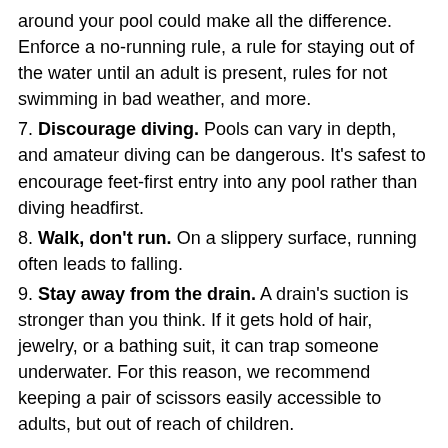around your pool could make all the difference. Enforce a no-running rule, a rule for staying out of the water until an adult is present, rules for not swimming in bad weather, and more.
7. Discourage diving. Pools can vary in depth, and amateur diving can be dangerous. It's safest to encourage feet-first entry into any pool rather than diving headfirst.
8. Walk, don't run. On a slippery surface, running often leads to falling.
9. Stay away from the drain. A drain's suction is stronger than you think. If it gets hold of hair, jewelry, or a bathing suit, it can trap someone underwater. For this reason, we recommend keeping a pair of scissors easily accessible to adults, but out of reach of children.
10. Don't swim in a storm. Did you know water conducts electricity? It's what makes swimming and lightning such a dangerous combination. Keep your eye on the weather, and when you see/hear a storm, head back inside.
11. Fence it in. Add a fence that completely encloses your pool, especially for in-ground pools. It should be at least four